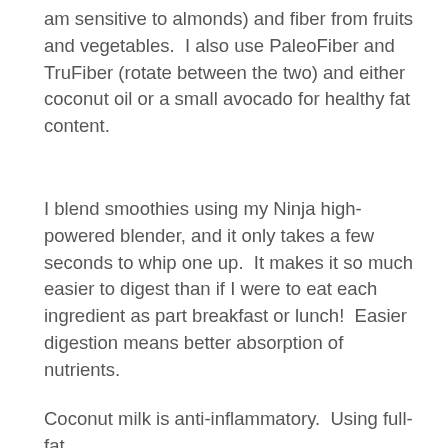am sensitive to almonds) and fiber from fruits and vegetables.  I also use PaleoFiber and TruFiber (rotate between the two) and either coconut oil or a small avocado for healthy fat content.
I blend smoothies using my Ninja high-powered blender, and it only takes a few seconds to whip one up.  It makes it so much easier to digest than if I were to eat each ingredient as part breakfast or lunch!  Easier digestion means better absorption of nutrients.
Coconut milk is anti-inflammatory.  Using full-fat